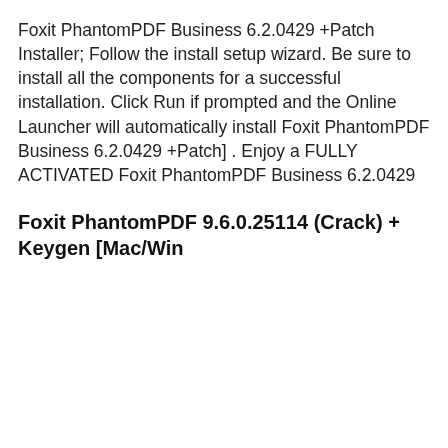Foxit PhantomPDF Business 6.2.0429 +Patch Installer; Follow the install setup wizard. Be sure to install all the components for a successful installation. Click Run if prompted and the Online Launcher will automatically install Foxit PhantomPDF Business 6.2.0429 +Patch] . Enjoy a FULLY ACTIVATED Foxit PhantomPDF Business 6.2.0429
Foxit PhantomPDF 9.6.0.25114 (Crack) + Keygen [Mac/Win